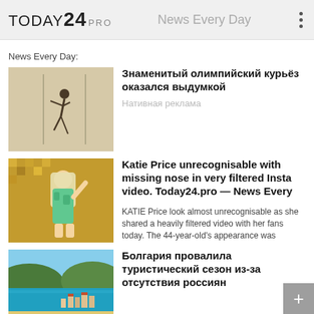TODAY24 PRO — News Every Day
News Every Day:
[Figure (photo): Person performing acrobatics or pole dance, neutral background]
Знаменитый олимпийский курьёз оказался выдумкой
Нативная реклама
[Figure (photo): Blonde woman in green patterned outfit at a glamorous event with gold sequin backdrop]
Katie Price unrecognisable with missing nose in very filtered Insta video. Today24.pro — News Every
KATIE Price look almost unrecognisable as she shared a heavily filtered video with her fans today. The 44-year-old's appearance was
[Figure (photo): Aerial view of Bulgarian seaside resort town with turquoise sea and green hills]
Болгария провалила туристический сезон из-за отсутствия россиян